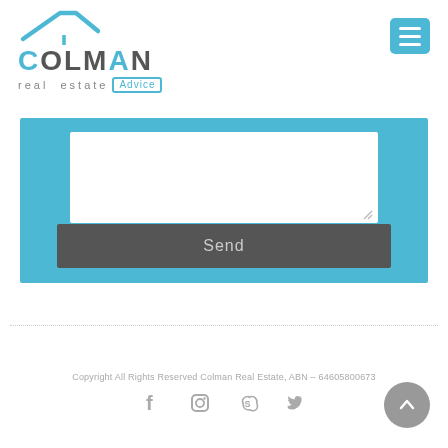[Figure (logo): Colman Real Estate Advice logo with house roof graphic in teal/blue, company name in dark gray uppercase, subtitle 'real estate Advice' with Advice in a teal bordered box]
[Figure (infographic): Blue form section with white text area and dark gray Send button]
Copyright All Rights Reserved Colman Real Estate, ABN – 64605800673
[Figure (infographic): Social media icons: Facebook, Instagram, Skype, Twitter in gray; back-to-top circular gray button with upward chevron]